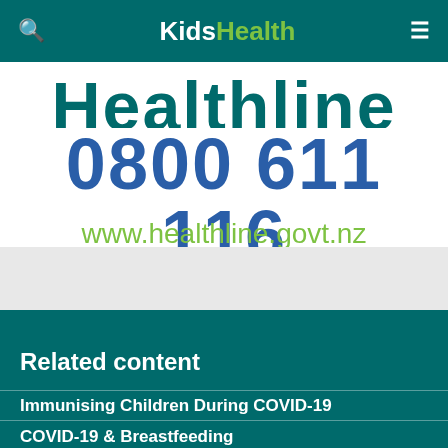KidsHealth
Healthline (partially visible, cropped)
0800 611 116
www.healthline.govt.nz
Related content
Immunising Children During COVID-19
COVID-19 & Breastfeeding